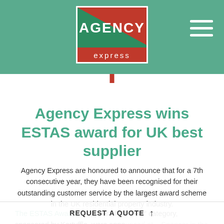Agency Express — Navigation header with logo and hamburger menu
Agency Express wins ESTAS award for UK best supplier
Agency Express are honoured to announce that for a 7th consecutive year, they have been recognised for their outstanding customer service by the largest award scheme in the UK residential property industry.
The ESTAS Awards 'Supplier of the Year' category, sponsored by Kertuffle, were announced at... Spencer in the...
REQUEST A QUOTE ↑